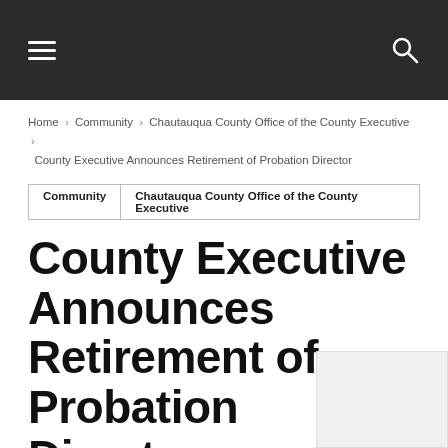Navigation bar with menu and search icons
Home › Community › Chautauqua County Office of the County Executive › County Executive Announces Retirement of Probation Director
Community | Chautauqua County Office of the County Executive
County Executive Announces Retirement of Probation Director
By Jamestown Gazette - 844 views 0 comments